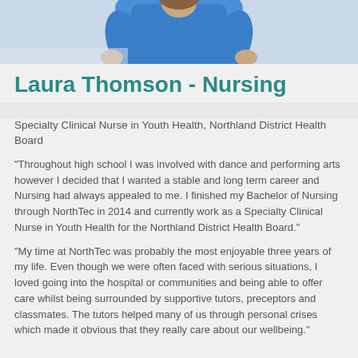[Figure (photo): Photograph of a person in blue scrubs/nursing uniform, cropped to show upper body, positioned at the top of the page]
Laura Thomson - Nursing
Specialty Clinical Nurse in Youth Health, Northland District Health Board
“Throughout high school I was involved with dance and performing arts however I decided that I wanted a stable and long term career and Nursing had always appealed to me. I finished my Bachelor of Nursing through NorthTec in 2014 and currently work as a Specialty Clinical Nurse in Youth Health for the Northland District Health Board.”
"My time at NorthTec was probably the most enjoyable three years of my life. Even though we were often faced with serious situations, I loved going into the hospital or communities and being able to offer care whilst being surrounded by supportive tutors, preceptors and classmates. The tutors helped many of us through personal crises which made it obvious that they really care about our wellbeing."